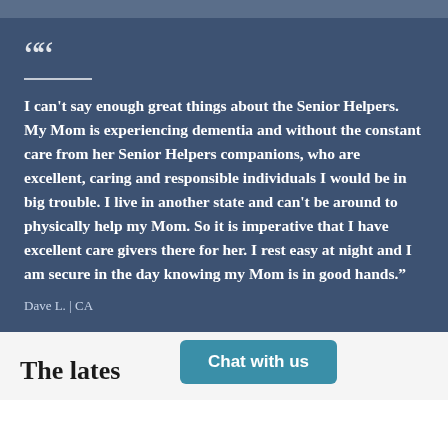[Figure (photo): Thin dark blue-grey image strip at top of page]
I can't say enough great things about the Senior Helpers. My Mom is experiencing dementia and without the constant care from her Senior Helpers companions, who are excellent, caring and responsible individuals I would be in big trouble. I live in another state and can't be around to physically help my Mom. So it is imperative that I have excellent care givers there for her. I rest easy at night and I am secure in the day knowing my Mom is in good hands."
Dave L. | CA
The lates
Chat with us